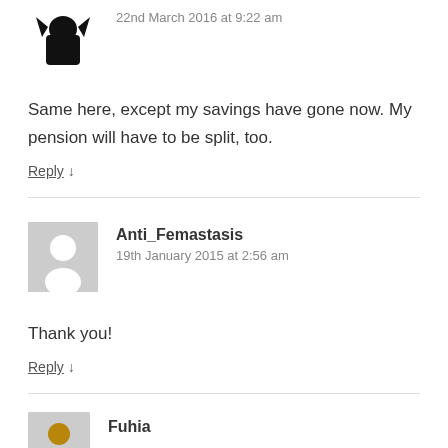[Figure (illustration): User avatar silhouette (black figure on white background)]
22nd March 2016 at 9:22 am
Same here, except my savings have gone now. My pension will have to be split, too.
Reply ↓
[Figure (illustration): Generic grey user avatar placeholder]
Anti_Femastasis
19th January 2015 at 2:56 am
Thank you!
Reply ↓
[Figure (illustration): Small user avatar thumbnail at bottom]